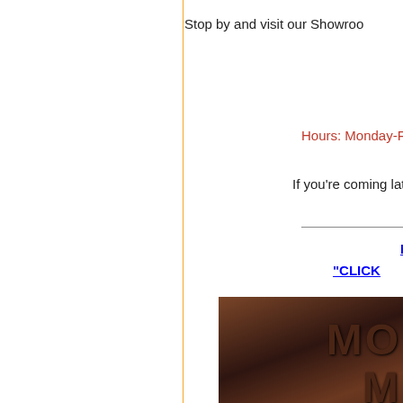Stop by and visit our Showroom
Ranch
Hours: Monday-Friday 9:00 to 6:00
If you're coming late, please call us a
Mod
"CLICK
[Figure (illustration): Dark brownish-red gradient background image with the text 'MO', 'M', 'MODER' in a darker embossed/shadowed style]
Investment
Copyright 2003 -20